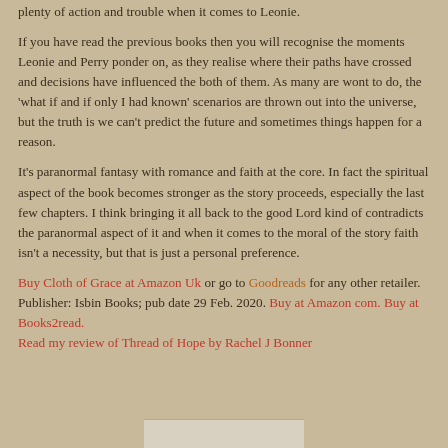plenty of action and trouble when it comes to Leonie.
If you have read the previous books then you will recognise the moments Leonie and Perry ponder on, as they realise where their paths have crossed and decisions have influenced the both of them. As many are wont to do, the 'what if and if only I had known' scenarios are thrown out into the universe, but the truth is we can't predict the future and sometimes things happen for a reason.
It's paranormal fantasy with romance and faith at the core. In fact the spiritual aspect of the book becomes stronger as the story proceeds, especially the last few chapters. I think bringing it all back to the good Lord kind of contradicts the paranormal aspect of it and when it comes to the moral of the story faith isn't a necessity, but that is just a personal preference.
Buy Cloth of Grace at Amazon Uk or go to Goodreads for any other retailer. Publisher: Isbin Books; pub date 29 Feb. 2020. Buy at Amazon com. Buy at Books2read.
Read my review of Thread of Hope by Rachel J Bonner
[Figure (photo): Partial image visible at bottom of page]